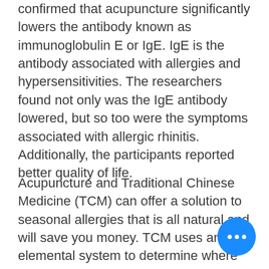confirmed that acupuncture significantly lowers the antibody known as immunoglobulin E or IgE. IgE is the antibody associated with allergies and hypersensitivities. The researchers found not only was the IgE antibody lowered, but so too were the symptoms associated with allergic rhinitis. Additionally, the participants reported better quality of life.
Acupuncture and Traditional Chinese Medicine (TCM) can offer a solution to seasonal allergies that is all natural and will save you money. TCM uses an elemental system to determine where there are excesses and deficiencies in each person,